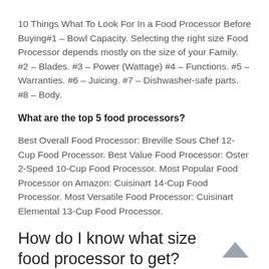10 Things What To Look For In a Food Processor Before Buying#1 – Bowl Capacity. Selecting the right size Food Processor depends mostly on the size of your Family. #2 – Blades. #3 – Power (Wattage) #4 – Functions. #5 – Warranties. #6 – Juicing. #7 – Dishwasher-safe parts. #8 – Body.
What are the top 5 food processors?
Best Overall Food Processor: Breville Sous Chef 12-Cup Food Processor. Best Value Food Processor: Oster 2-Speed 10-Cup Food Processor. Most Popular Food Processor on Amazon: Cuisinart 14-Cup Food Processor. Most Versatile Food Processor: Cuisinart Elemental 13-Cup Food Processor.
How do I know what size food processor to get?